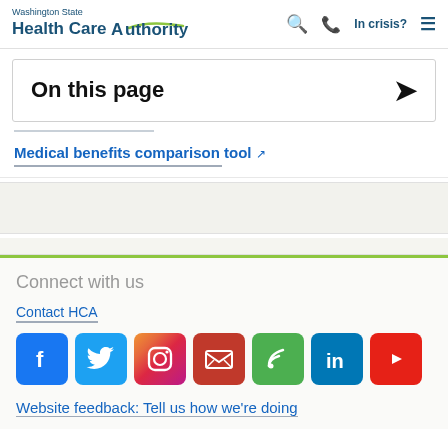Washington State Health Care Authority — Search | In crisis? | Menu
On this page
Medical benefits comparison tool [external link]
Connect with us
Contact HCA
[Figure (infographic): Row of social media icons: Facebook, Twitter, Instagram, Email/Newsletter, Blog, LinkedIn, YouTube]
Website feedback: Tell us how we're doing